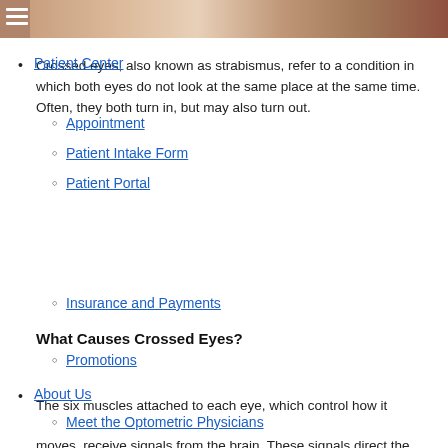[Figure (photo): Close-up photo of a person's face, cropped at top of page]
Patient Center
Crossed eyes, also known as strabismus, refer to a condition in which both eyes do not look at the same place at the same time. Often, they both turn in, but may also turn out.
Appointment
Patient Intake Form
Patient Portal
Insurance and Payments
What Causes Crossed Eyes?
Promotions
About Us
The six muscles attached to each eye, which control how it moves, receive signals from the brain. These signals direct the eye's movements. In normal circumstances, the eyes work in an organized fashion so that both point in the same direction at the same time. With crossed eyes, however, the muscles around the eyes do not work together because some are weaker than others. This causes the eyes to turn inward or in the opposite direction of each other.
Meet the Optometric Physicians
Meet the Staff
Our Technology
Reviews
Contact Us
Eyecare Services
Astigmatism
Computer Vision Treatment
Contact Lenses
It is important to have proper eye alignment. Misalignment can cause:
Contact Lenses for Astigmatism
Contact Lenses for Dry Eyes